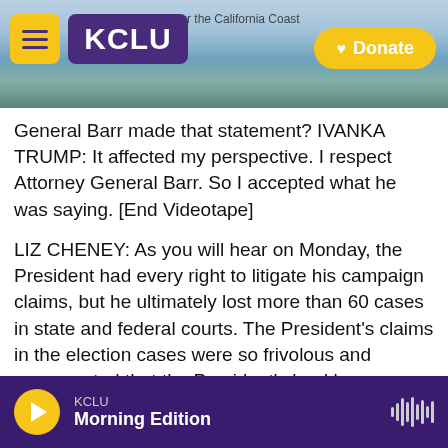[Figure (screenshot): KCLU NPR radio website header with logo, menu button, coastal photo background, and Donate button]
General Barr made that statement? IVANKA TRUMP: It affected my perspective. I respect Attorney General Barr. So I accepted what he was saying. [End Videotape]
LIZ CHENEY: As you will hear on Monday, the President had every right to litigate his campaign claims, but he ultimately lost more than 60 cases in state and federal courts. The President's claims in the election cases were so frivolous and unsupported that the President's lead lawyer, Rudy Giuliani, not only lost the lawsuits, his license to practice law was suspended. Here is what the
KCLU Morning Edition